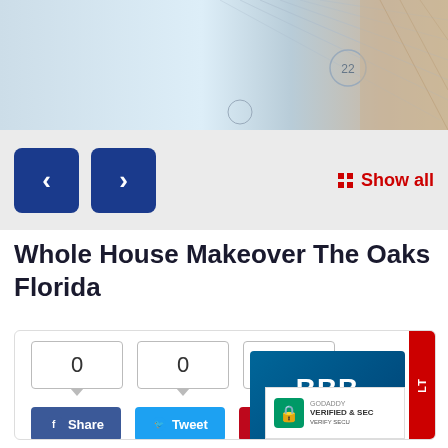[Figure (photo): Hero banner image showing architectural lines, light blue and beige tones, with diagonal structural lines and a circular element marked '22']
[Figure (screenshot): Navigation area with two blue square buttons (left arrow and right arrow) and a red 'Show all' link with grid icon on the right, on a light gray background]
Whole House Makeover The Oaks Florida
[Figure (screenshot): Social share widget showing three count boxes each displaying '0', with Share (Facebook), Tweet (Twitter), and Pinterest buttons below. Overlapping BBB Accredited badge and GoDaddy Verified & Secure badge and a red bar on the right edge.]